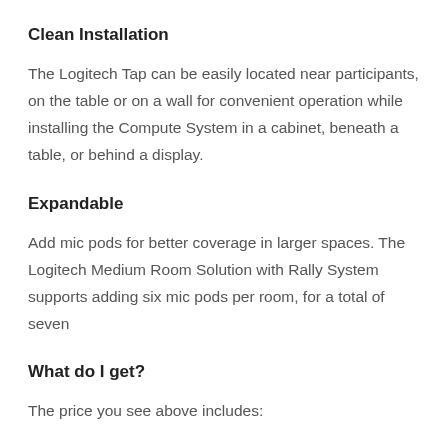Clean Installation
The Logitech Tap can be easily located near participants, on the table or on a wall for convenient operation while installing the Compute System in a cabinet, beneath a table, or behind a display.
Expandable
Add mic pods for better coverage in larger spaces. The Logitech Medium Room Solution with Rally System supports adding six mic pods per room, for a total of seven
What do I get?
The price you see above includes: